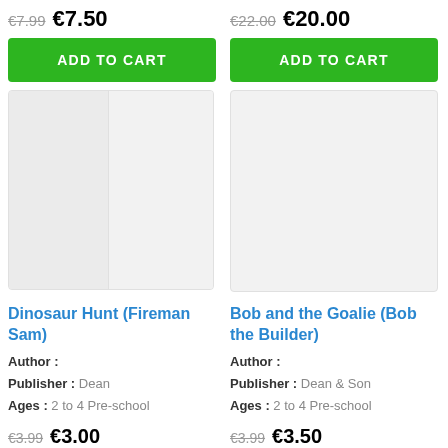€7.99  €7.50
ADD TO CART
€22.00  €20.00
ADD TO CART
[Figure (illustration): Placeholder book cover image for Dinosaur Hunt (Fireman Sam), grey rectangle with lighter left panel]
[Figure (illustration): Placeholder book cover image for Bob and the Goalie (Bob the Builder), grey rectangle]
Dinosaur Hunt (Fireman Sam)
Author :
Publisher : Dean
Ages : 2 to 4 Pre-school
Bob and the Goalie (Bob the Builder)
Author :
Publisher : Dean & Son
Ages : 2 to 4 Pre-school
€3.99  €3.00
€3.99  €3.50